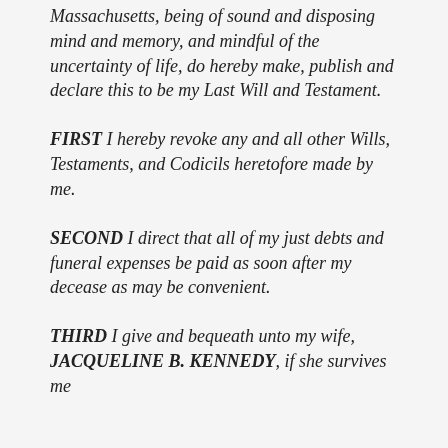Massachusetts, being of sound and disposing mind and memory, and mindful of the uncertainty of life, do hereby make, publish and declare this to be my Last Will and Testament.
FIRST I hereby revoke any and all other Wills, Testaments, and Codicils heretofore made by me.
SECOND I direct that all of my just debts and funeral expenses be paid as soon after my decease as may be convenient.
THIRD I give and bequeath unto my wife, JACQUELINE B. KENNEDY, if she survives me